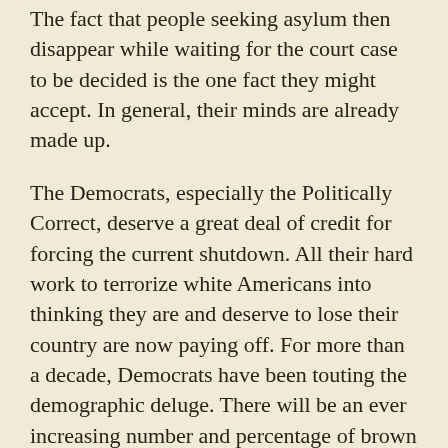The fact that people seeking asylum then disappear while waiting for the court case to be decided is the one fact they might accept. In general, their minds are already made up.
The Democrats, especially the Politically Correct, deserve a great deal of credit for forcing the current shutdown. All their hard work to terrorize white Americans into thinking they are and deserve to lose their country are now paying off. For more than a decade, Democrats have been touting the demographic deluge. There will be an ever increasing number and percentage of brown people in the country who eventually will seize control from the sexist, racist, homophobic, imperialist, polluting heterosexual white people. Truly they may be said to have done a fabulous job of delivering the message that the days of white people running this country are over, that all their heroes are bogus, and that a